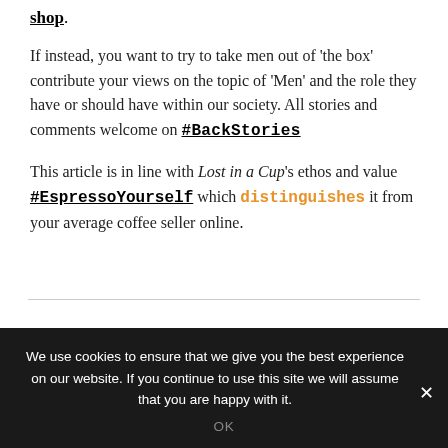shop.
If instead, you want to try to take men out of 'the box' contribute your views on the topic of 'Men' and the role they have or should have within our society. All stories and comments welcome on #BackStories
This article is in line with Lost in a Cup's ethos and value #EspressoYourself which distinguishes it from your average coffee seller online.
We use cookies to ensure that we give you the best experience on our website. If you continue to use this site we will assume that you are happy with it.
OK